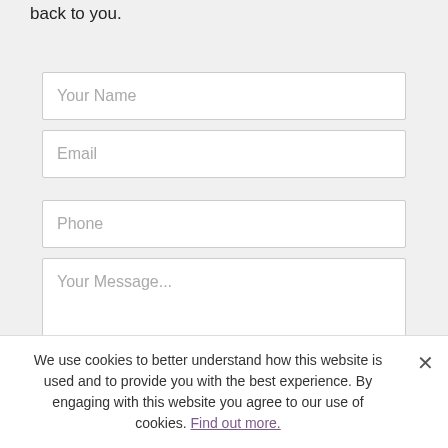back to you.
Your Name
Email
Phone
Your Message...
This message is encrypted. Nevertheless, please be mindful of pri...
We use cookies to better understand how this website is used and to provide you with the best experience. By engaging with this website you agree to our use of cookies. Find out more.